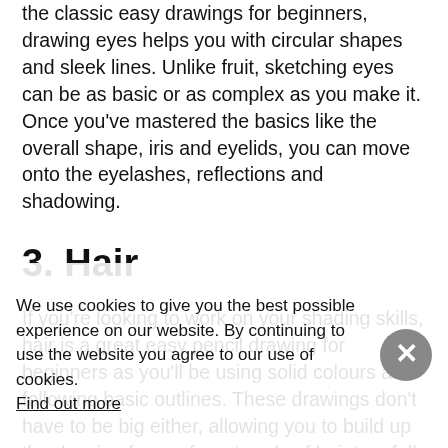the classic easy drawings for beginners, drawing eyes helps you with circular shapes and sleek lines. Unlike fruit, sketching eyes can be as basic or as complex as you make it. Once you've mastered the basics like the overall shape, iris and eyelids, you can move onto the eyelashes, reflections and shadowing.
3. Hair
If you're looking to work on your shading skills, hair is a great easy pencil drawing for beginners as you'll be using solid colours and following basic outlines. These drawings don't have to be big either, allowing you to build up the drawing from a few strands of hair to a full sketch, honing your skills along the way. If you're feeling more adventurous, why not try adding some highlight colours?
We use cookies to give you the best possible experience on our website. By continuing to use the website you agree to our use of cookies. Find out more